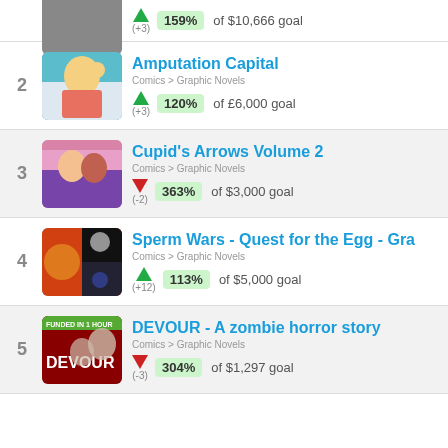159% of $10,666 goal (+3)
2 Amputation Capital
Comics > Graphic Novels
120% of £6,000 goal (+3)
3 Cupid's Arrows Volume 2
Comics > Graphic Novels
363% of $3,000 goal (-2)
4 Sperm Wars - Quest for the Egg - Gra
Comics > Graphic Novels
113% of $5,000 goal (+12)
5 DEVOUR - A zombie horror story
Comics > Graphic Novels
304% of $1,297 goal (-3)